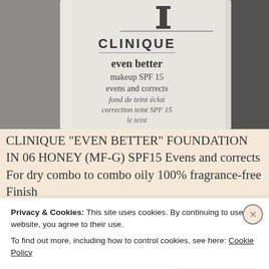[Figure (photo): Close-up photograph of a Clinique 'Even Better' makeup foundation bottle showing the label with text: CLINIQUE, even better, makeup SPF 15 evens and corrects, fond de teint éclat, correction teint SPF 15, le teint]
CLINIQUE "EVEN BETTER" FOUNDATION IN 06 HONEY (MF-G) SPF15 Evens and corrects For dry combo to combo oily 100% fragrance-free Finish
Privacy & Cookies: This site uses cookies. By continuing to use this website, you agree to their use.
To find out more, including how to control cookies, see here: Cookie Policy
Close and accept